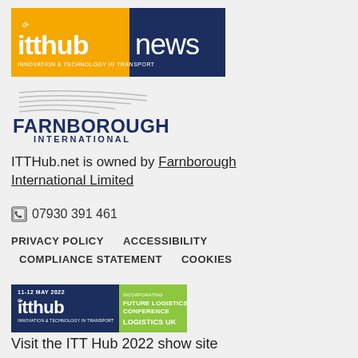[Figure (logo): ITTHub News logo — yellow/gold box with 'itthub' text and headphone icon, navy blue box with 'news' text]
[Figure (logo): Farnborough International logo — grey swoosh lines above dark navy bold 'FARNBOROUGH' text with 'INTERNATIONAL' below]
ITTHub.net is owned by Farnborough International Limited
☎ 07930 391 461
PRIVACY POLICY    ACCESSIBILITY    COMPLIANCE STATEMENT    COOKIES
[Figure (logo): ITT Hub 2022 show banner — dark navy left side with '11-12 MAY 2022' and 'itthub INNOVATION & TECHNOLOGY IN TRANSPORT' branding, lime green right side with 'INCORPORATING FUTURE LOGISTICS CONFERENCE LOGISTICS UK']
Visit the ITT Hub 2022 show site